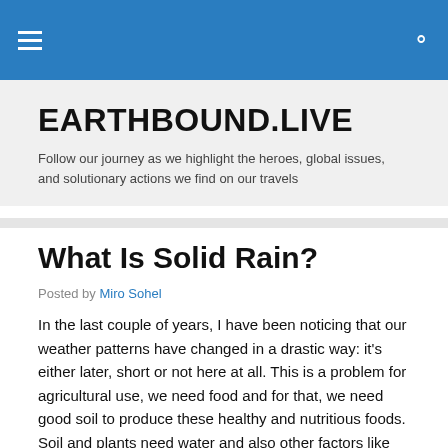EARTHBOUND.LIVE — navigation bar
EARTHBOUND.LIVE
Follow our journey as we highlight the heroes, global issues, and solutionary actions we find on our travels
What Is Solid Rain?
Posted by Miro Sohel
In the last couple of years, I have been noticing that our weather patterns have changed in a drastic way: it's either later, short or not here at all. This is a problem for agricultural use, we need food and for that, we need good soil to produce these healthy and nutritious foods. Soil and plants need water and also other factors like compost. But